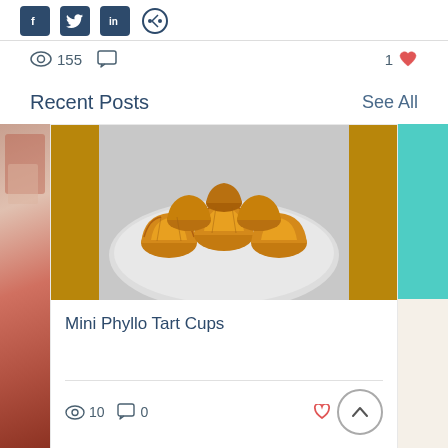[Figure (screenshot): Social share icons (Facebook, Twitter, LinkedIn, and another icon) in dark blue square buttons]
155 views, comment icon, 1 like (heart icon)
Recent Posts
See All
[Figure (photo): Photo of Mini Phyllo Tart Cups — golden crispy phyllo pastry cups on a white plate, multiple cups arranged on the plate]
Mini Phyllo Tart Cups
10 views, 0 comments, heart icon, scroll up button